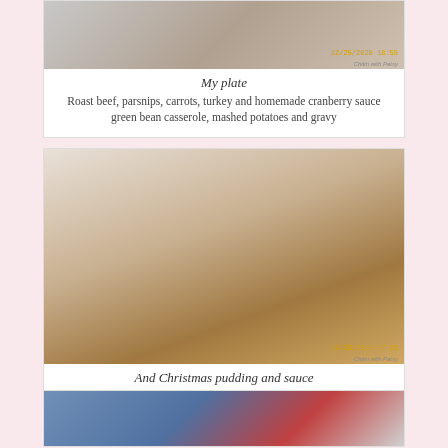[Figure (photo): Partial view of a plate with food including roast beef, parsnips, carrots, turkey and homemade cranberry sauce, green bean casserole, mashed potatoes and gravy. Timestamp 12/25/2020 18:55 and watermark 'Chitin with Patsy' visible.]
My plate
Roast beef, parsnips, carrots, turkey and homemade cranberry sauce
green bean casserole, mashed potatoes and gravy
[Figure (photo): A plate with Christmas pudding with sauce. Timestamp 12/25/2020 17:21 and watermark 'Chitin with Patsy' visible.]
And Christmas pudding and sauce
[Figure (photo): Partial view of another food photo, cropped at bottom of page.]